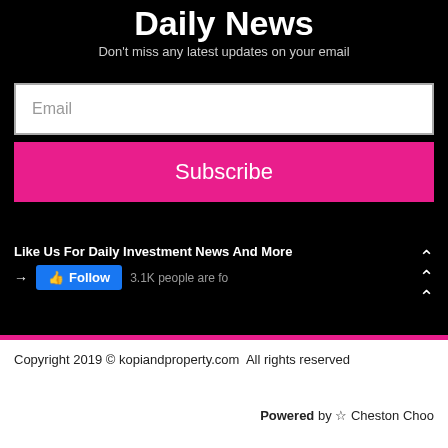Daily News
Don't miss any latest updates on your email
Email
Subscribe
Like Us For Daily Investment News And More
Follow  7.1K people are fo
Copyright 2019 © kopiandproperty.com  All rights reserved
Powered by ☆ Cheston Choo